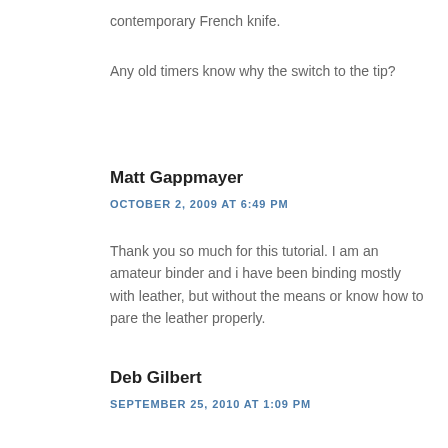contemporary French knife.
Any old timers know why the switch to the tip?
Matt Gappmayer
OCTOBER 2, 2009 AT 6:49 PM
Thank you so much for this tutorial. I am an amateur binder and i have been binding mostly with leather, but without the means or know how to pare the leather properly.
Deb Gilbert
SEPTEMBER 25, 2010 AT 1:09 PM